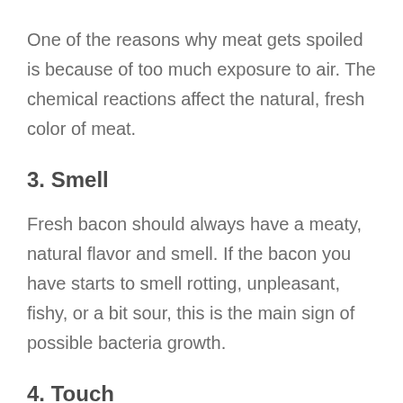One of the reasons why meat gets spoiled is because of too much exposure to air. The chemical reactions affect the natural, fresh color of meat.
3. Smell
Fresh bacon should always have a meaty, natural flavor and smell. If the bacon you have starts to smell rotting, unpleasant, fishy, or a bit sour, this is the main sign of possible bacteria growth.
4. Touch